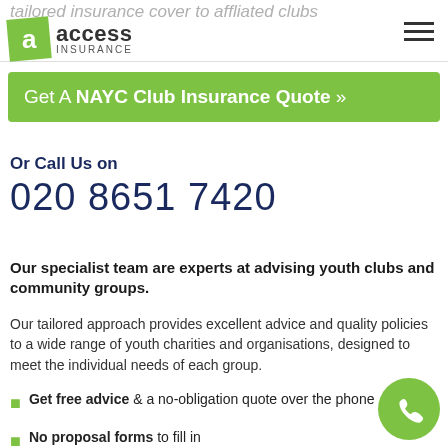tailored insurance cover to affliated clubs
[Figure (logo): Access Insurance logo with green tilted square containing letter 'a' and text 'access INSURANCE']
Get A NAYC Club Insurance Quote »
Or Call Us on
020 8651 7420
Our specialist team are experts at advising youth clubs and community groups.
Our tailored approach provides excellent advice and quality policies to a wide range of youth charities and organisations, designed to meet the individual needs of each group.
Get free advice & a no-obligation quote over the phone
No proposal forms to fill in